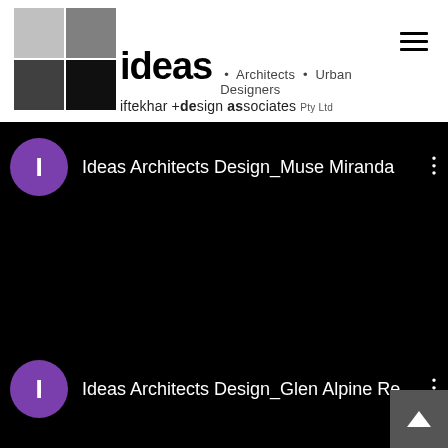[Figure (logo): ideas Architects Urban Designers logo — grid of four squares in shades of gray/black, with bold 'ideas' wordmark, tagline 'Architects • Urban Designers', and subtitle 'iftekhar +design associates Pty Ltd']
Ideas Architects Design_Muse Miranda
Ideas Architects Design_Glen Alpine Re...